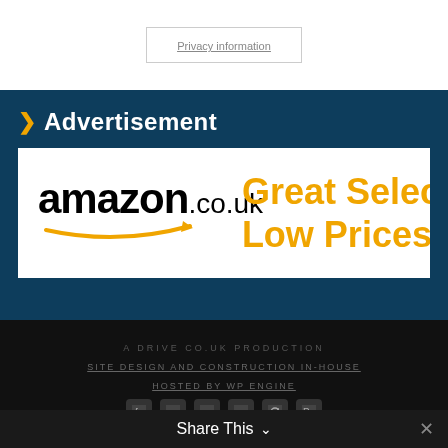Privacy information
> Advertisement
[Figure (illustration): Amazon.co.uk advertisement banner with amazon.co.uk logo on white background and orange text reading 'Great Selection Low Prices']
A DRIVE CO.UK PRODUCTION
SITE DESIGN AND CONSTRUCTION IN-HOUSE
HOSTED BY WP ENGINE
Share This